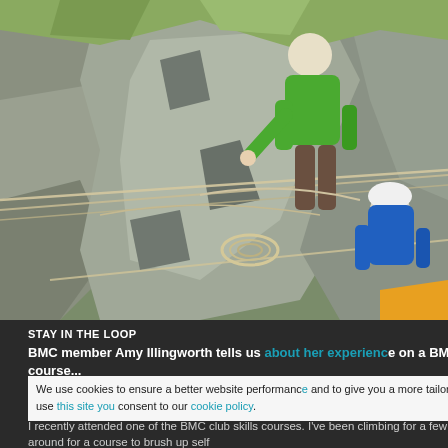[Figure (photo): Rock climbers on a cliff face with ropes. A person in a bright green jacket stands on rocks above, pointing downward. Another person in a blue jacket and white helmet sits below on the rocky ledge. Ropes are visible strung across the scene.]
STAY IN THE LOOP
BMC member Amy Illingworth tells us about her experience on a BMC subsidised self rescue course...
We use cookies to ensure a better website performance and to give you a more tailored experience. By continuing to use this site you consent to our cookie policy.
I recently attended one of the BMC club skills courses. I've be a few years now and was looking around for a course to brush up self